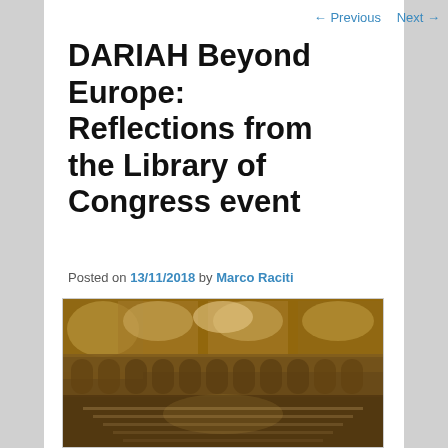← Previous   Next →
DARIAH Beyond Europe: Reflections from the Library of Congress event
Posted on 13/11/2018 by Marco Raciti
[Figure (photo): Interior of the Library of Congress main reading room, showing ornate arched architecture, large windows with stained glass, and rows of reading desks below a grand domed ceiling.]